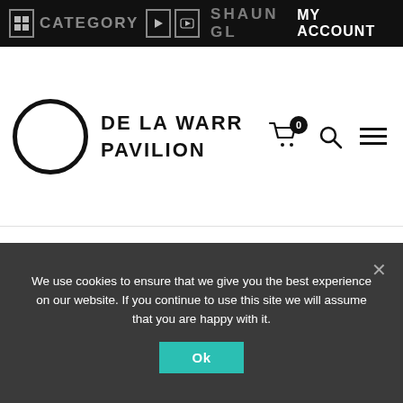CATEGORY | SHAUN GLAZER | MY ACCOUNT
DE LA WARR PAVILION
[Figure (illustration): Broken image placeholder with alt text HPIM1510]
We use cookies to ensure that we give you the best experience on our website. If you continue to use this site we will assume that you are happy with it.